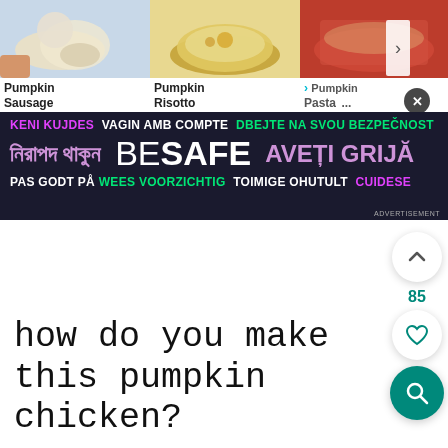[Figure (screenshot): Recipe card strip showing Pumpkin Sausage, Pumpkin Risotto, and partial Pumpkin Pasta recipe thumbnails with food photos]
[Figure (infographic): Safety advertisement banner with multilingual text 'BE SAFE' in multiple languages including Bengali, Catalan, Czech, Romanian, Dutch, Estonian on dark blue background]
[Figure (infographic): Upvote arrow button (chevron up) in white circle, showing vote count 85 in teal, heart/favorite button in white circle, and teal search button]
how do you make this pumpkin chicken?